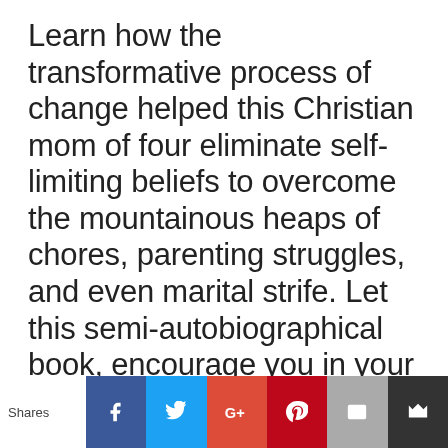Learn how the transformative process of change helped this Christian mom of four eliminate self-limiting beliefs to overcome the mountainous heaps of chores, parenting struggles, and even marital strife. Let this semi-autobiographical book, encourage you in your mothering journey, help you to create a thriving and fulfilling family life, with practical tips to transit you from
[Figure (other): Social media share bar with Shares label, Facebook, Twitter, Google+, Pinterest, Email, and bookmark buttons]